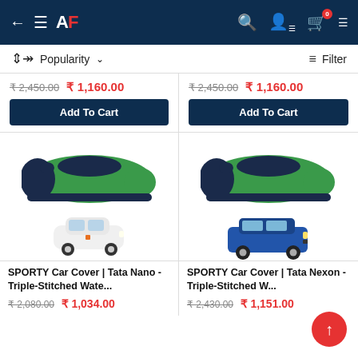AF — App header with back, menu, logo, search, account, cart (0 items)
Popularity ∨   Filter
₹2,450.00  ₹1,160.00  Add To Cart
₹2,450.00  ₹1,160.00  Add To Cart
[Figure (photo): Green and navy SPORTY car cover with small Tata Nano car image below]
[Figure (photo): Green and navy SPORTY car cover with blue Tata Nexon SUV car image below]
SPORTY Car Cover | Tata Nano - Triple-Stitched Wate...
₹2,080.00  ₹1,034.00
SPORTY Car Cover | Tata Nexon - Triple-Stitched W...
₹2,430.00  ₹1,151.00